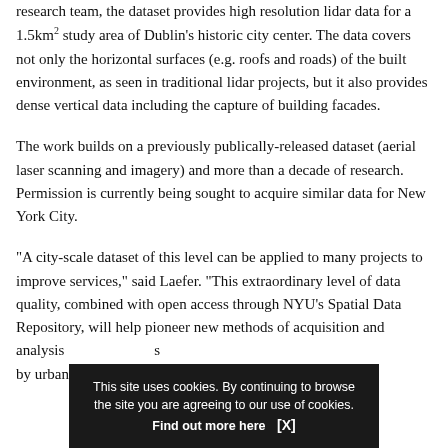research team, the dataset provides high resolution lidar data for a 1.5km² study area of Dublin's historic city center. The data covers not only the horizontal surfaces (e.g. roofs and roads) of the built environment, as seen in traditional lidar projects, but it also provides dense vertical data including the capture of building facades.
The work builds on a previously publically-released dataset (aerial laser scanning and imagery) and more than a decade of research. Permission is currently being sought to acquire similar data for New York City.
"A city-scale dataset of this level can be applied to many projects to improve services," said Laefer. "This extraordinary level of data quality, combined with open access through NYU's Spatial Data Repository, will help pioneer new methods of acquisition and analysis by urban engineers, architects, and city planners to achieve
This site uses cookies. By continuing to browse the site you are agreeing to our use of cookies. Find out more here [X]